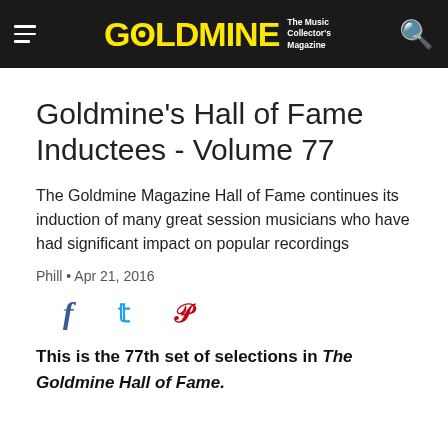GOLDMINE — The Music Collector's Magazine
Goldmine's Hall of Fame Inductees - Volume 77
The Goldmine Magazine Hall of Fame continues its induction of many great session musicians who have had significant impact on popular recordings
Phill • Apr 21, 2016
[Figure (infographic): Social share icons: Facebook (f), Twitter (bird), Pinterest (P)]
This is the 77th set of selections in The Goldmine Hall of Fame.